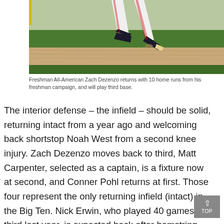[Figure (photo): A baseball pitcher in white uniform mid-delivery, showing legs and cleats above a dirt mound and green outfield grass.]
Freshman All-American Zach Dezenzo returns with 10 home runs from his freshman campaign, and will play third base.
The interior defense – the infield – should be solid, returning intact from a year ago and welcoming back shortstop Noah West from a second knee injury. Zach Dezenzo moves back to third, Matt Carpenter, selected as a captain, is a fixture now at second, and Conner Pohl returns at first. Those four represent the only returning infield (intact) in the Big Ten. Nick Erwin, who played 40 games at third last year, is expected back after hamstring surgery.